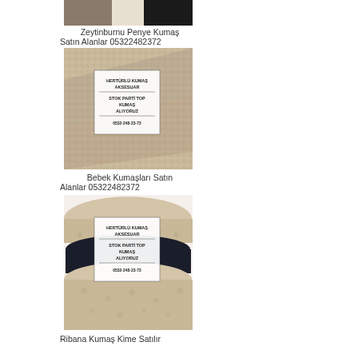[Figure (photo): Partial image of fabrics at top of page - cropped]
Zeytinburnu Penye Kumaş Satın Alanlar 05322482372
[Figure (photo): Patterned fabric with advertisement label overlay: HERTÜRLÜ KUMAŞ AKSESUAR STOK PARTİ TOP KUMAŞ ALIYORUZ 0532-248-23-72]
Bebek Kumaşları Satın Alanlar 05322482372
[Figure (photo): Stacked fabric rolls in beige and dark colors with advertisement label overlay: HERTÜRLÜ KUMAŞ AKSESUAR STOK PARTİ TOP KUMAŞ ALIYORUZ 0532-248-23-72]
Ribana Kumaş Kime Satılır